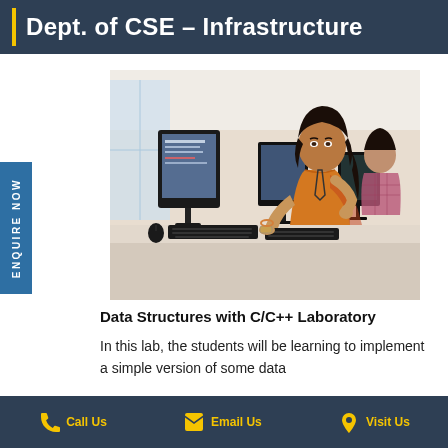Dept. of CSE – Infrastructure
[Figure (photo): Female student in orange kurta sitting at a computer lab workstation, focused on monitor, with other computers and students in background]
Data Structures with C/C++ Laboratory
In this lab, the students will be learning to implement a simple version of some data
Call Us   Email Us   Visit Us